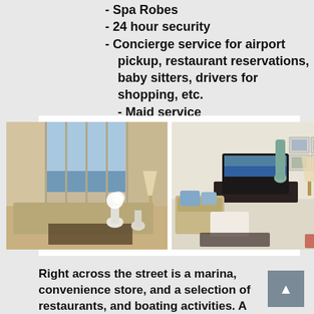- Spa Robes
- 24 hour security
- Concierge service for airport pickup, restaurant reservations, baby sitters, drivers for shopping, etc.
- Maid service
[Figure (photo): Two interior photos of a luxury beach condo: left shows living room with ocean view through large glass doors, flowers on coffee table; right shows living room with flat screen TV on stand, wicker furniture, wall art.]
Right across the street is a marina, convenience store, and a selection of restaurants, and boating activities. A casino is located down the beach. A shell's throw from the beach, a short stroll to restaurants, and a few minutes' drive to downtown Philipsburg, the